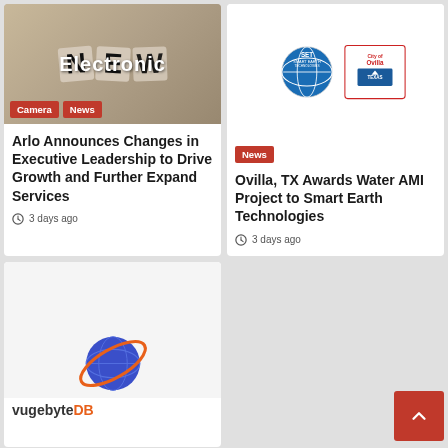Electronic
[Figure (photo): NEWS dice photo with 'Electronic' overlay text]
Camera
News
[Figure (logo): Smart Earth Technologies and City of Ovilla logos]
News
Arlo Announces Changes in Executive Leadership to Drive Growth and Further Expand Services
3 days ago
Ovilla, TX Awards Water AMI Project to Smart Earth Technologies
3 days ago
[Figure (logo): VugebyteDB planet logo with orange ring]
vugebyteDB